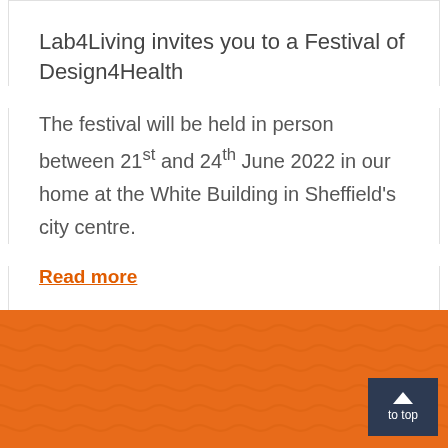Lab4Living invites you to a Festival of Design4Health
The festival will be held in person between 21st and 24th June 2022 in our home at the White Building in Sheffield’s city centre.
Read more
to top